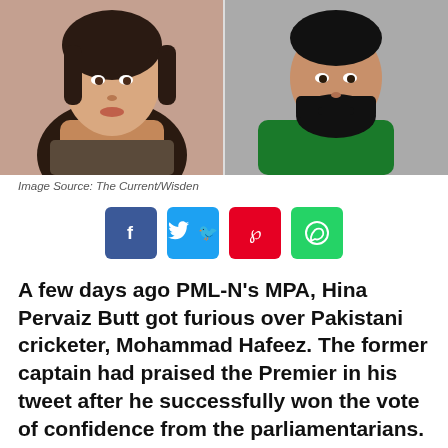[Figure (photo): Two photos side by side: left shows a woman with long dark hair wearing traditional embroidered clothing; right shows a man in a green cricket jersey with a beard.]
Image Source: The Current/Wisden
[Figure (infographic): Social media share buttons: Facebook (blue), Twitter (light blue), Pinterest (red), WhatsApp (green)]
A few days ago PML-N's MPA, Hina Pervaiz Butt got furious over Pakistani cricketer, Mohammad Hafeez. The former captain had praised the Premier in his tweet after he successfully won the vote of confidence from the parliamentarians. This did not go down well with Butt, and she gave Hafeez a dressing down.